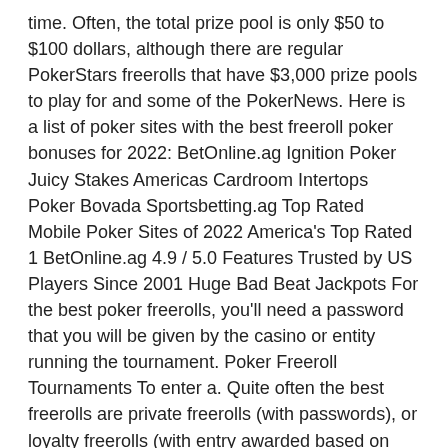time. Often, the total prize pool is only $50 to $100 dollars, although there are regular PokerStars freerolls that have $3,000 prize pools to play for and some of the PokerNews. Here is a list of poker sites with the best freeroll poker bonuses for 2022: BetOnline.ag Ignition Poker Juicy Stakes Americas Cardroom Intertops Poker Bovada Sportsbetting.ag Top Rated Mobile Poker Sites of 2022 America's Top Rated 1 BetOnline.ag 4.9 / 5.0 Features Trusted by US Players Since 2001 Huge Bad Beat Jackpots For the best poker freerolls, you'll need a password that you will be given by the casino or entity running the tournament. Poker Freeroll Tournaments To enter a. Quite often the best freerolls are private freerolls (with passwords), or loyalty freerolls (with entry awarded based on tournament fees paid / rake contribution over a specific time) - due to smaller player fields. Are freerolls